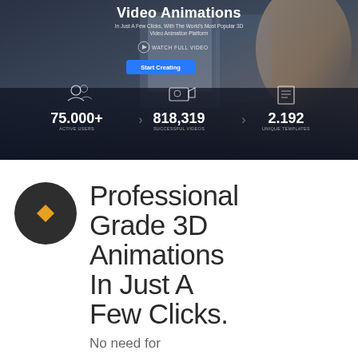[Figure (screenshot): Screenshot of a 3D video animation platform website hero section showing title 'Video Animations', subtitle text, Watch Full Video link, Start Creating button, and stats bar with 75.000+ Active Users, 818,319 Successful Videos, 2.192 Unique Templates]
Professional Grade 3D Animations In Just A Few Clicks.
No need for